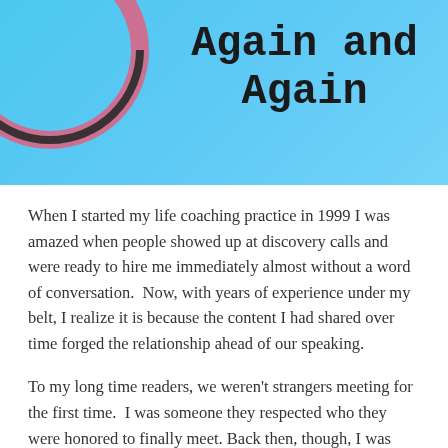[Figure (illustration): Blue banner illustration with circular decorative element on the left and bold title text 'Again and Again' on the right]
When I started my life coaching practice in 1999 I was amazed when people showed up at discovery calls and were ready to hire me immediately almost without a word of conversation.  Now, with years of experience under my belt, I realize it is because the content I had shared over time forged the relationship ahead of our speaking.
To my long time readers, we weren't strangers meeting for the first time.  I was someone they respected who they were honored to finally meet. Back then, though, I was simply happily going about my life, not thinking of myself as anything unique or special or worthy of any